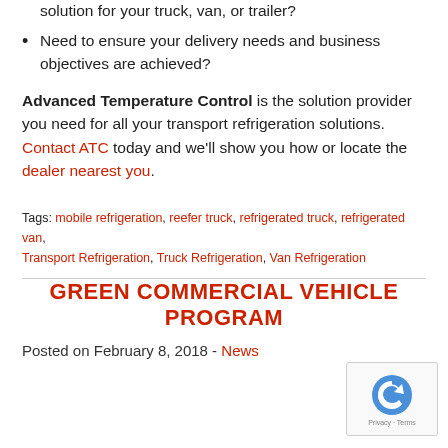that need a proven, dependable refrigerated solution for your truck, van, or trailer?
Need to ensure your delivery needs and business objectives are achieved?
Advanced Temperature Control is the solution provider you need for all your transport refrigeration solutions. Contact ATC today and we'll show you how or locate the dealer nearest you.
Tags: mobile refrigeration, reefer truck, refrigerated truck, refrigerated van, Transport Refrigeration, Truck Refrigeration, Van Refrigeration
GREEN COMMERCIAL VEHICLE PROGRAM
Posted on February 8, 2018 - News